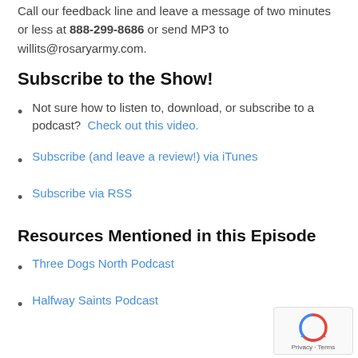Call our feedback line and leave a message of two minutes or less at 888-299-8686 or send MP3 to willits@rosaryarmy.com.
Subscribe to the Show!
Not sure how to listen to, download, or subscribe to a podcast?  Check out this video.
Subscribe (and leave a review!) via iTunes
Subscribe via RSS
Resources Mentioned in this Episode
Three Dogs North Podcast
Halfway Saints Podcast